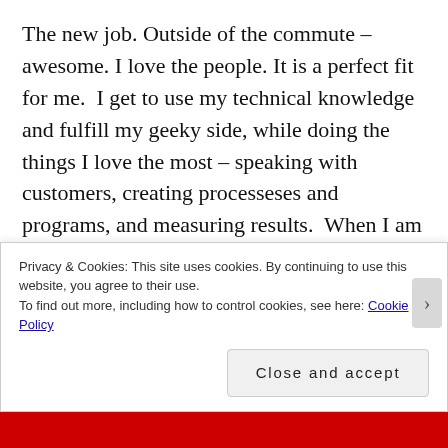The new job. Outside of the commute – awesome. I love the people. It is a perfect fit for me.  I get to use my technical knowledge and fulfill my geeky side, while doing the things I love the most – speaking with customers, creating processeses and programs, and measuring results.  When I am “working”, it really doesn’t feel like working.  Which is really the best job ever.  If it weren’t for the commute, it would be perfect.  Once I get up to speed I will be able to reduce my face time in the office. And once I get another vehicle, I will be able to...
Privacy & Cookies: This site uses cookies. By continuing to use this website, you agree to their use.
To find out more, including how to control cookies, see here: Cookie Policy
Close and accept